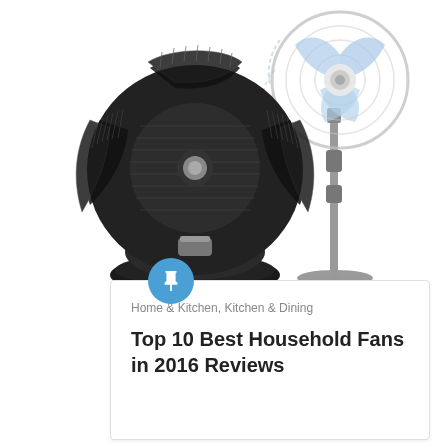[Figure (photo): Two household fans on white background: a large black spherical Vornado-style desk fan on the left, and a silver pedestal stand fan with blue-tinted blades on the right.]
Home & Kitchen, Kitchen & Dining
Top 10 Best Household Fans in 2016 Reviews